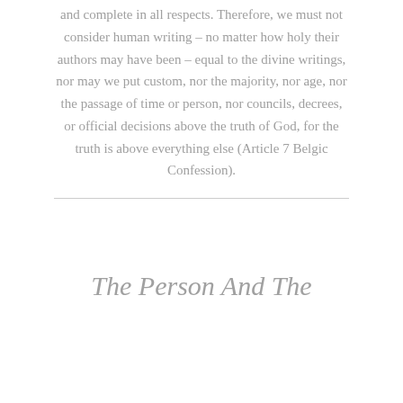and complete in all respects. Therefore, we must not consider human writing – no matter how holy their authors may have been – equal to the divine writings, nor may we put custom, nor the majority, nor age, nor the passage of time or person, nor councils, decrees, or official decisions above the truth of God, for the truth is above everything else (Article 7 Belgic Confession).
The Person And The